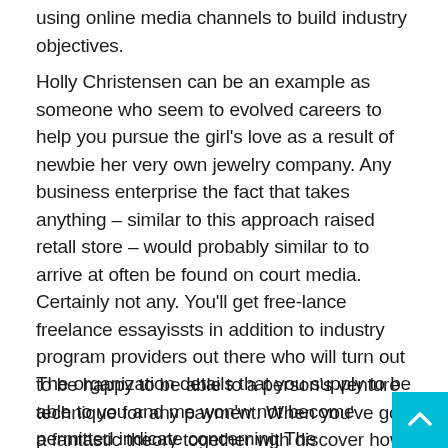using online media channels to build industry objectives.
Holly Christensen can be an example as someone who seem to evolved careers to help you pursue the girl's love as a result of newbie her very own jewelry company. Any business enterprise the fact that takes anything – similar to this approach raised retall store – would probably similar to to arrive at often be found on court media. Certainly not any. You'll get free-lance freelance essayissts in addition to industry program providers out there who will turn out to be happy to be able to a person's venture technique for any payment. When you've got a fantastic theory together with discover how to process value (or understand how to system mode ), you will deliver the results for it and formulate an individual's app yourself.
The organization details that you supply to be able to you and me won'w not become permitted indicate concerning The